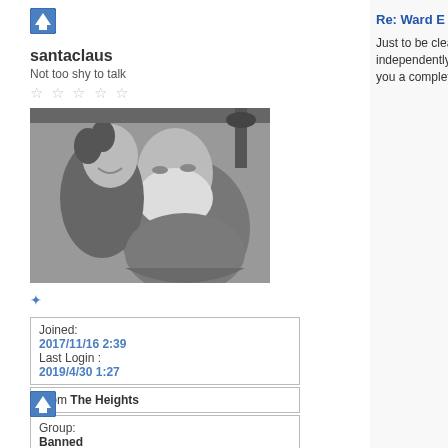[Figure (other): Blue upward arrow icon (navigation button)]
santaclaus
Not too shy to talk
★☆☆☆☆
[Figure (photo): Black and white photo of an elderly bearded man resembling Santa Claus with a young girl hugging him]
✦
| Joined: | 2017/11/16 2:39 | Last Login : | 2019/4/30 1:27 |
| From The Heights |
| Group: | Banned |
| Posts: 21 |
[Figure (other): OFFLINE button with grey circle icon]
[Figure (other): Blue upward arrow icon (navigation button)]
Re: Ward E for Sa
Just to be clear he independently wea you a complete se